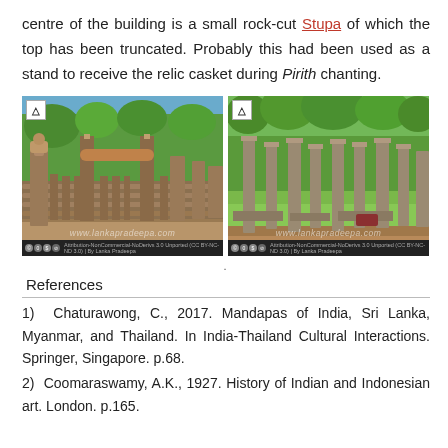centre of the building is a small rock-cut Stupa of which the top has been truncated. Probably this had been used as a stand to receive the relic casket during Pirith chanting.
[Figure (photo): Two side-by-side photographs of ancient stone ruins with pillars and columns in Sri Lanka. Left photo shows a stone doorway/gateway with carved pillars. Right photo shows rows of stone columns amid green grass and trees. Both photos have watermarks 'www.lankapradeepa.com' and Creative Commons license footers.]
.
References
1)  Chaturawong, C., 2017. Mandapas of India, Sri Lanka, Myanmar, and Thailand. In India-Thailand Cultural Interactions. Springer, Singapore. p.68.
2)  Coomaraswamy, A.K., 1927. History of Indian and Indonesian art. London. p.165.